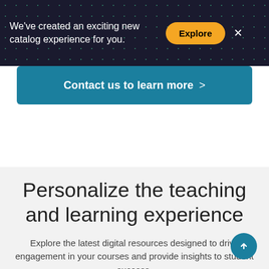We've created an exciting new catalog experience for you.
Explore
×
Contact us to learn more >
Personalize the teaching and learning experience
Explore the latest digital resources designed to drive engagement in your courses and provide insights to student success.